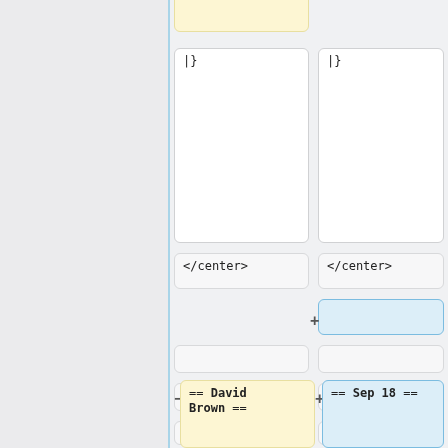[Figure (screenshot): Diff/merge UI showing wiki markup comparison. Left column shows old content, right column shows new content. Cells contain wiki markup tokens: Emerton., |}, </center>, <br>, == David Brown ==, == Sep 18 ==. Yellow cells indicate removed content, blue cells indicate added content. A vertical blue line separates a grey left panel from the content area.]